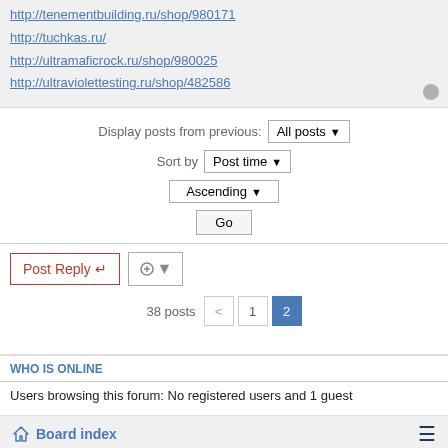http://tenementbuilding.ru/shop/980171
http://tuchkas.ru/
http://ultramaficrock.ru/shop/980025
http://ultraviolettesting.ru/shop/482586
Display posts from previous: All posts ▼
Sort by Post time ▼
Ascending ▼
Go
Post Reply ↵
38 posts  < 1 2
WHO IS ONLINE
Users browsing this forum: No registered users and 1 guest
Board index
2004 - 2022 © MST-AVIATION.NL